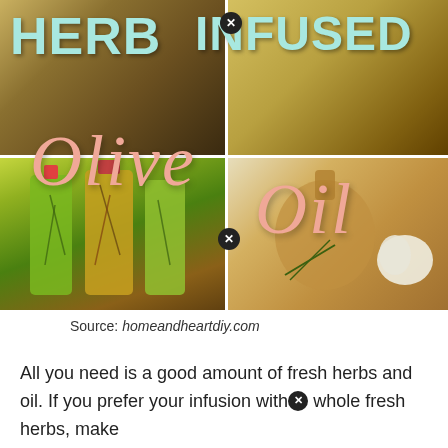[Figure (photo): Collage of herb-infused olive oil images: top-left shows jars of herbs, top-right shows a glass jar with oil, bottom-left shows three herb-infused oil bottles with rosemary and flowers, bottom-right shows an amber flask with rosemary and garlic cloves. Overlaid text reads 'HERB INFUSED' in large teal block letters and 'Olive Oil' in large italic pink/salmon script.]
Source: homeandheartdiy.com
All you need is a good amount of fresh herbs and oil. If you prefer your infusion with whole fresh herbs, make